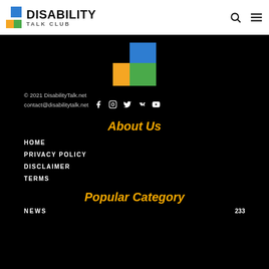DISABILITY TALK CLUB
[Figure (logo): Disability Talk Club logo with blue, orange and green squares]
© 2021 DisabilityTalk.net
contact@disabilitytalk.net
About Us
HOME
PRIVACY POLICY
DISCLAIMER
TERMS
Popular Category
NEWS   233